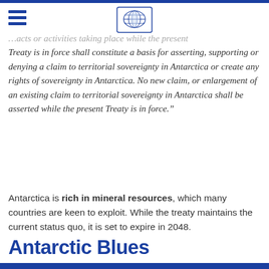...acts or activities taking place while the present Treaty is in force shall constitute a basis for asserting, supporting or denying a claim to territorial sovereignty in Antarctica or create any rights of sovereignty in Antarctica. No new claim, or enlargement of an existing claim to territorial sovereignty in Antarctica shall be asserted while the present Treaty is in force.”
Antarctica is rich in mineral resources, which many countries are keen to exploit. While the treaty maintains the current status quo, it is set to expire in 2048.
Antarctic Blues